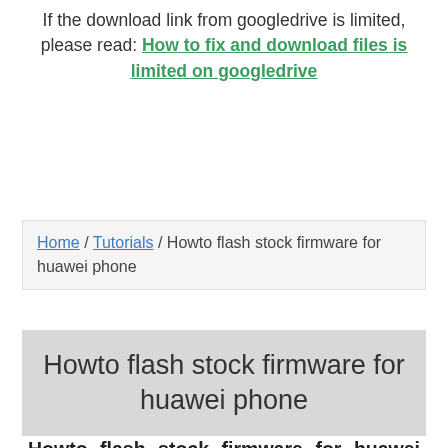If the download link from googledrive is limited, please read: How to fix and download files is limited on googledrive
Home / Tutorials / Howto flash stock firmware for huawei phone
Howto flash stock firmware for huawei phone
Howto flash stock firmware for huawei phone